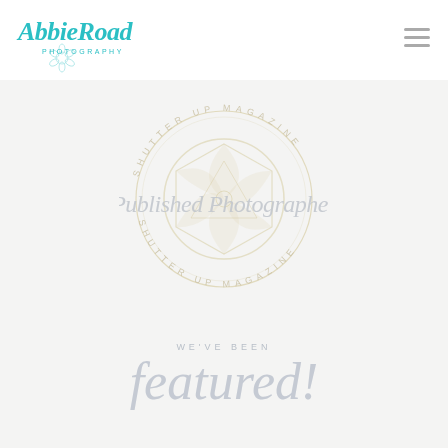[Figure (logo): Abbie Road Photography logo in teal/turquoise cursive script with decorative floral element below]
[Figure (logo): Shutter Up Magazine Published Photographer badge - circular badge with camera lens aperture design in gold/tan, text reading SHUTTER UP MAGAZINE around the circle, and 'Published Photographer' in cursive script across the center]
WE'VE BEEN
featured!